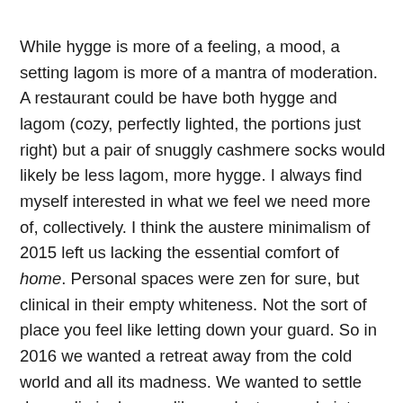While hygge is more of a feeling, a mood, a setting lagom is more of a mantra of moderation. A restaurant could be have both hygge and lagom (cozy, perfectly lighted, the portions just right) but a pair of snuggly cashmere socks would likely be less lagom, more hygge. I always find myself interested in what we feel we need more of, collectively. I think the austere minimalism of 2015 left us lacking the essential comfort of home. Personal spaces were zen for sure, but clinical in their empty whiteness. Not the sort of place you feel like letting down your guard. So in 2016 we wanted a retreat away from the cold world and all its madness. We wanted to settle down, dig in, burrow like a velveteen mole into a world of crackling fire and mulled wine. Welcome to 2017! Now it is time to emerge into this new world we somehow created, to face it like adults, and learn to live in the balance. We're always looking to create balance, aren't we? That is probably the basis of ninety percent of the New Year